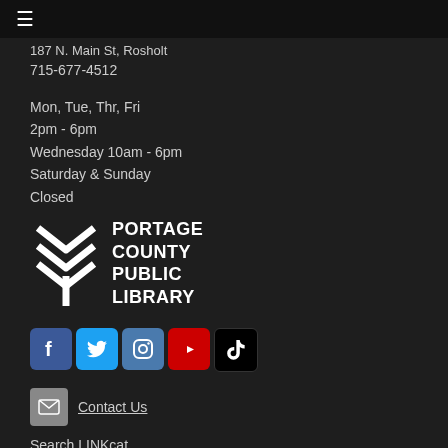≡
187 N. Main St, Rosholt
715-677-4512
Mon, Tue, Thr, Fri
2pm - 6pm
Wednesday 10am - 6pm
Saturday & Sunday
Closed
[Figure (logo): Portage County Public Library logo — white chevron/arrow icon with text PORTAGE COUNTY PUBLIC LIBRARY]
[Figure (infographic): Social media icons: Facebook, Twitter, Instagram, YouTube, TikTok]
Contact Us
Search LINKcat